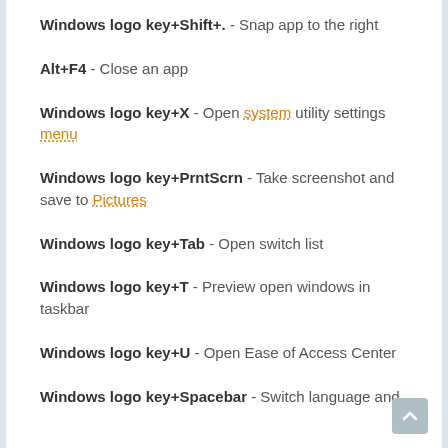Windows logo key+Shift+. - Snap app to the right
Alt+F4 - Close an app
Windows logo key+X - Open system utility settings menu
Windows logo key+PrntScrn - Take screenshot and save to Pictures
Windows logo key+Tab - Open switch list
Windows logo key+T - Preview open windows in taskbar
Windows logo key+U - Open Ease of Access Center
Windows logo key+Spacebar - Switch language and